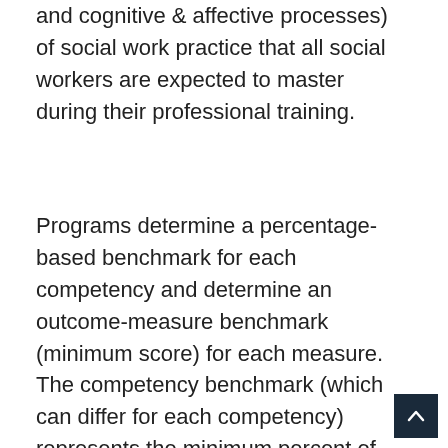and cognitive & affective processes) of social work practice that all social workers are expected to master during their professional training.
Programs determine a percentage-based benchmark for each competency and determine an outcome-measure benchmark (minimum score) for each measure. The competency benchmark (which can differ for each competency) represents the minimum percent of students the program expects to have achieved the outcome measure